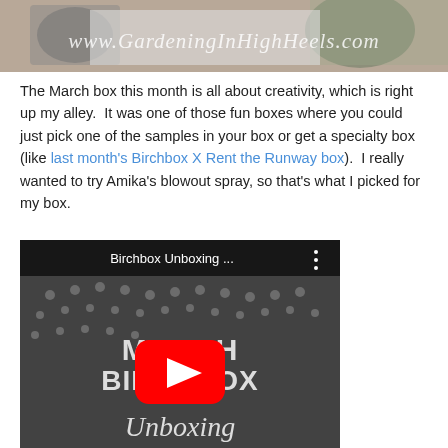[Figure (photo): Top portion of a lifestyle/gardening blog photo showing beauty/garden products on a burlap surface, with watermark text 'www.GardeningInHighHeels.com' overlaid in white script]
The March box this month is all about creativity, which is right up my alley.  It was one of those fun boxes where you could just pick one of the samples in your box or get a specialty box (like last month's Birchbox X Rent the Runway box).  I really wanted to try Amika's blowout spray, so that's what I picked for my box.
[Figure (screenshot): YouTube video thumbnail for 'Birchbox Unboxing ...' showing a black and white image with 'MARCH BIRCHBOX Unboxing' text and a YouTube play button overlay]